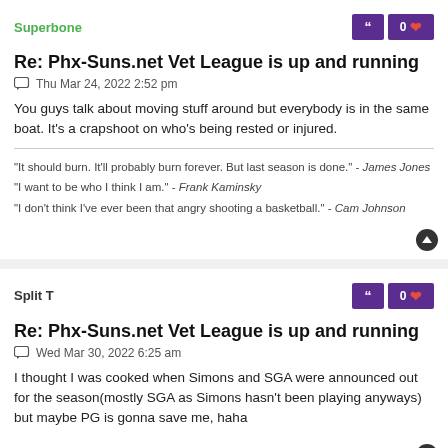Superbone
Re: Phx-Suns.net Vet League is up and running
Thu Mar 24, 2022 2:52 pm
You guys talk about moving stuff around but everybody is in the same boat. It's a crapshoot on who's being rested or injured.
"It should burn. It'll probably burn forever. But last season is done." - James Jones
"I want to be who I think I am." - Frank Kaminsky
"I don't think I've ever been that angry shooting a basketball." - Cam Johnson
Split T
Re: Phx-Suns.net Vet League is up and running
Wed Mar 30, 2022 6:25 am
I thought I was cooked when Simons and SGA were announced out for the season(mostly SGA as Simons hasn't been playing anyways) but maybe PG is gonna save me, haha